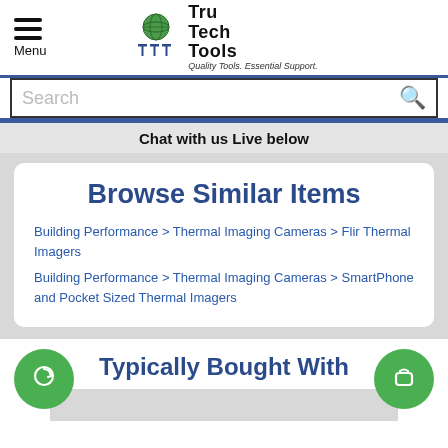Menu | Tru Tech Tools — Quality Tools. Essential Support.
Search
Chat with us Live below
Browse Similar Items
Building Performance > Thermal Imaging Cameras > Flir Thermal Imagers
Building Performance > Thermal Imaging Cameras > SmartPhone and Pocket Sized Thermal Imagers
Typically Bought With